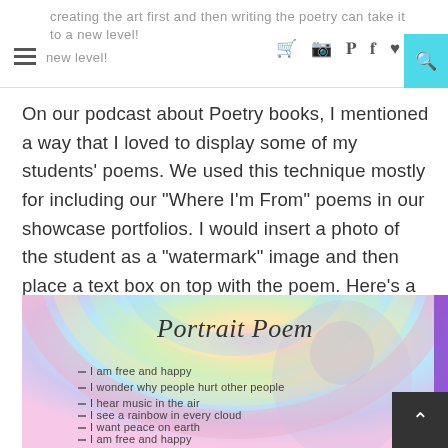creating the art first and then writing the poetry can take it to a new level!
On our podcast about Poetry books, I mentioned a way that I loved to display some of my students' poems. We used this technique mostly for including our "Where I'm From" poems in our showcase portfolios. I would insert a photo of the student as a "watermark" image and then place a text box on top with the poem. Here's a sample:
[Figure (photo): A colorful pastel rainbow-background image titled 'Portrait Poem' with handwritten poem lines: 'I am free and happy', 'I wonder why people hurt other people', 'I hear music in the air', 'I see a rainbow in every cloud', 'I want peace on earth', 'I am free and happy']